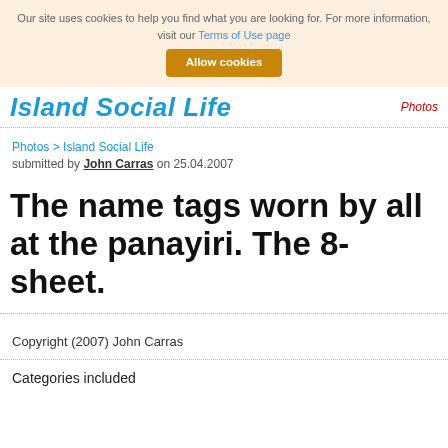Our site uses cookies to help you find what you are looking for. For more information, visit our Terms of Use page
Allow cookies
Island Social Life   Photos
Photos > Island Social Life
submitted by John Carras on 25.04.2007
The name tags worn by all at the panayiri. The 8-sheet.
Copyright (2007) John Carras
Categories included